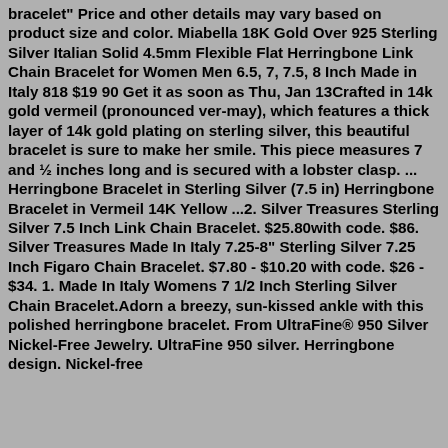bracelet" Price and other details may vary based on product size and color. Miabella 18K Gold Over 925 Sterling Silver Italian Solid 4.5mm Flexible Flat Herringbone Link Chain Bracelet for Women Men 6.5, 7, 7.5, 8 Inch Made in Italy 818 $19 90 Get it as soon as Thu, Jan 13Crafted in 14k gold vermeil (pronounced ver-may), which features a thick layer of 14k gold plating on sterling silver, this beautiful bracelet is sure to make her smile. This piece measures 7 and ½ inches long and is secured with a lobster clasp. ... Herringbone Bracelet in Sterling Silver (7.5 in) Herringbone Bracelet in Vermeil 14K Yellow ...2. Silver Treasures Sterling Silver 7.5 Inch Link Chain Bracelet. $25.80with code. $86. Silver Treasures Made In Italy 7.25-8" Sterling Silver 7.25 Inch Figaro Chain Bracelet. $7.80 - $10.20 with code. $26 - $34. 1. Made In Italy Womens 7 1/2 Inch Sterling Silver Chain Bracelet.Adorn a breezy, sun-kissed ankle with this polished herringbone bracelet. From UltraFine® 950 Silver Nickel-Free Jewelry. UltraFine 950 silver. Herringbone design. Nickel-free